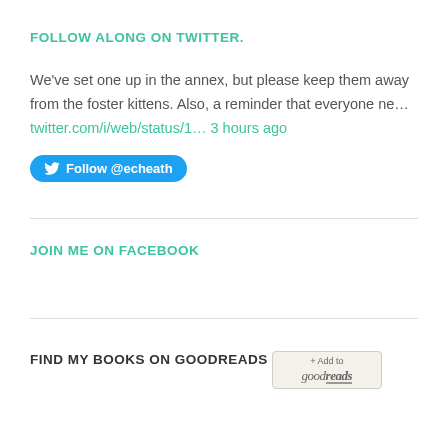FOLLOW ALONG ON TWITTER.
We've set one up in the annex, but please keep them away from the foster kittens. Also, a reminder that everyone ne... twitter.com/i/web/status/1... 3 hours ago
[Figure (other): Blue Twitter Follow @echeath button]
JOIN ME ON FACEBOOK
FIND MY BOOKS ON GOODREADS
[Figure (logo): Goodreads + Add to goodreads badge/button]